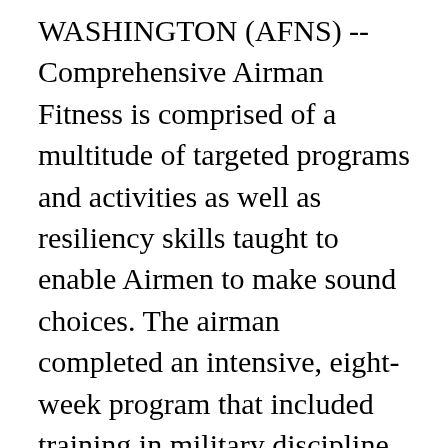WASHINGTON (AFNS) -- Comprehensive Airman Fitness is comprised of a multitude of targeted programs and activities as well as resiliency skills taught to enable Airmen to make sound choices. The airman completed an intensive, eight-week program that included training in military discipline and studies, Air Force core values, physical fitness and basic warfare principles and skills. Recognize the Signs Take Action Get Help Early. Comprehensive Airman Fitness (CAF) United States Air Force March 2013 OPR: HQ AETC/A1KD DSN: 487-6106; Commercial: 210-652-6106 . Capt. Comprehensive Airman Fitness is an Air Force-wide initiative based on improving Airman readiness by solidifying